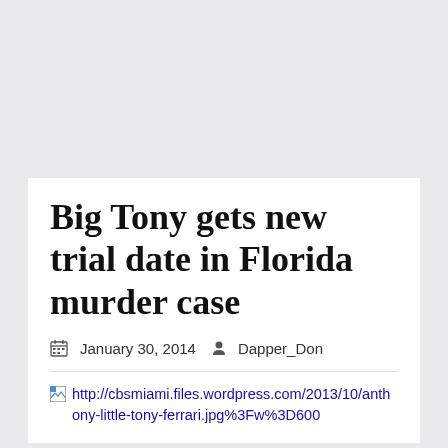Big Tony gets new trial date in Florida murder case
January 30, 2014  Dapper_Don
[Figure (other): Broken image placeholder with URL: http://cbsmiami.files.wordpress.com/2013/10/anthony-little-tony-ferrari.jpg%3Fw%3D600]